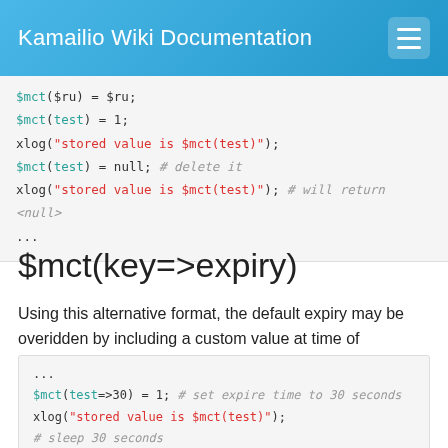Kamailio Wiki Documentation
$mct($ru) = $ru;
$mct(test) = 1;
xlog("stored value is $mct(test)");
$mct(test) = null; # delete it
xlog("stored value is $mct(test)"); # will return <null>
...
$mct(key=>expiry)
Using this alternative format, the default expiry may be overidden by including a custom value at time of assignment.
...
$mct(test=>30) = 1; # set expire time to 30 seconds
xlog("stored value is $mct(test)");
# sleep 30 seconds
xlog("stored value is $mct(test)"); # will return <null>
...